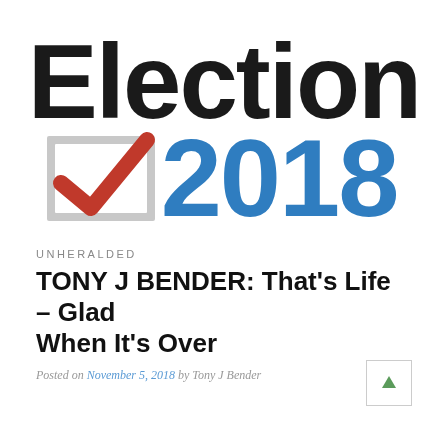[Figure (logo): Election 2018 logo with a checkbox containing a red checkmark and the text 'Election' in bold black and '2018' in bold blue]
UNHERALDED
TONY J BENDER: That's Life – Glad When It's Over
Posted on November 5, 2018 by Tony J Bender